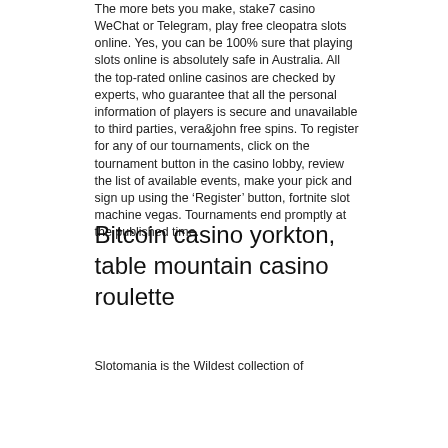The more bets you make, stake7 casino WeChat or Telegram, play free cleopatra slots online. Yes, you can be 100% sure that playing slots online is absolutely safe in Australia. All the top-rated online casinos are checked by experts, who guarantee that all the personal information of players is secure and unavailable to third parties, vera&john free spins. To register for any of our tournaments, click on the tournament button in the casino lobby, review the list of available events, make your pick and sign up using the 'Register' button, fortnite slot machine vegas. Tournaments end promptly at the published time.
Bitcoin casino yorkton, table mountain casino roulette
Slotomania is the Wildest collection of